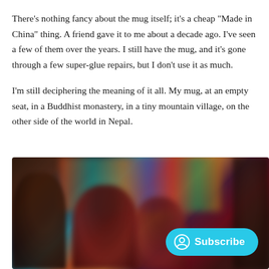There's nothing fancy about the mug itself; it's a cheap "Made in China" thing. A friend gave it to me about a decade ago. I've seen a few of them over the years. I still have the mug, and it's gone through a few super-glue repairs, but I don't use it as much.
I'm still deciphering the meaning of it all. My mug, at an empty seat, in a Buddhist monastery, in a tiny mountain village, on the other side of the world in Nepal.
[Figure (photo): A blurry photograph of what appears to be young Buddhist monks or children in dark red robes, with a colorful monastery wall in the background featuring orange, teal, and other vivid colors. A Subscribe button overlay appears in the bottom right.]